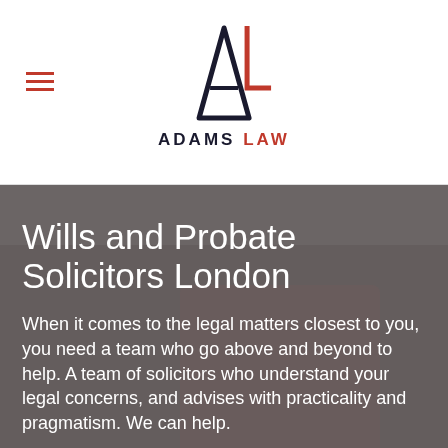[Figure (logo): Adams Law logo — stylized 'A' in dark navy and 'L' in red, with text 'ADAMS LAW' below]
Wills and Probate Solicitors London
When it comes to the legal matters closest to you, you need a team who go above and beyond to help. A team of solicitors who understand your legal concerns, and advises with practicality and pragmatism. We can help.